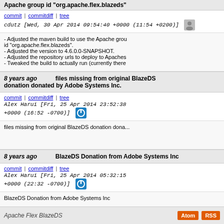Apache group id "org.apache.flex.blazeds"
commit | commitdiff | tree   cdutz [Wed, 30 Apr 2014 09:54:40 +0000 (11:54 +0200)]
- Adjusted the maven build to use the Apache group id "org.apache.flex.blazeds".
- Adjusted the version to 4.6.0.0-SNAPSHOT.
- Adjusted the repository urls to deploy to Apaches.
- Tweaked the build to actually run (currently there...
8 years ago   files missing from original BlazeDS donation donated by Adobe Systems Inc.
commit | commitdiff | tree   Alex Harui [Fri, 25 Apr 2014 23:52:38 +0000 (16:52 -0700)]
files missing from original BlazeDS donation dona...
8 years ago   BlazeDS Donation from Adobe Systems Inc
commit | commitdiff | tree   Alex Harui [Fri, 25 Apr 2014 05:32:15 +0000 (22:32 -0700)]
BlazeDS Donation from Adobe Systems Inc
Apache Flex BlazeDS   Atom  RSS